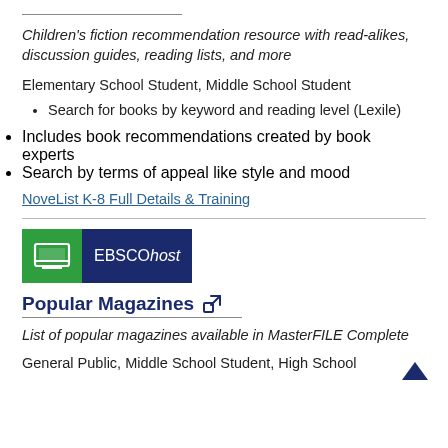Children's fiction recommendation resource with read-alikes, discussion guides, reading lists, and more
Elementary School Student, Middle School Student
Search for books by keyword and reading level (Lexile)
Includes book recommendations created by book experts
Search by terms of appeal like style and mood
NoveList K-8 Full Details & Training
[Figure (logo): EBSCOhost logo badge with green icon panel and dark navy text panel]
Popular Magazines
List of popular magazines available in MasterFILE Complete
General Public, Middle School Student, High School